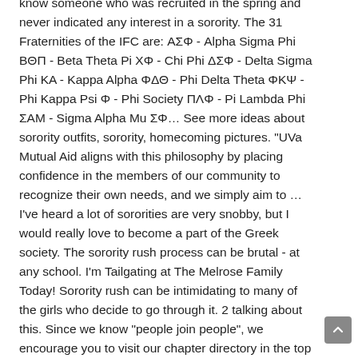know someone who was recruited in the spring and never indicated any interest in a sorority. The 31 Fraternities of the IFC are: ΑΣΦ - Alpha Sigma Phi ΒΘΠ - Beta Theta Pi ΧΦ - Chi Phi ΔΣΦ - Delta Sigma Phi ΚΑ - Kappa Alpha ΦΔΘ - Phi Delta Theta ΦΚΨ - Phi Kappa Psi Φ - Phi Society ΠΛΦ - Pi Lambda Phi ΣΑΜ - Sigma Alpha Mu ΣΦ… See more ideas about sorority outfits, sorority, homecoming pictures. "UVa Mutual Aid aligns with this philosophy by placing confidence in the members of our community to recognize their own needs, and we simply aim to … I've heard a lot of sororities are very snobby, but I would really love to become a part of the Greek society. The sorority rush process can be brutal - at any school. I'm Tailgating at The Melrose Family Today! Sorority rush can be intimidating to many of the girls who decide to go through it. 2 talking about this. Since we know "people join people", we encourage you to visit our chapter directory in the top menu bar to learn more about each fraternity/sorority and contact them. Hosted by UVA Lambdas. Ultimately, these things tend to have a way of working out — and